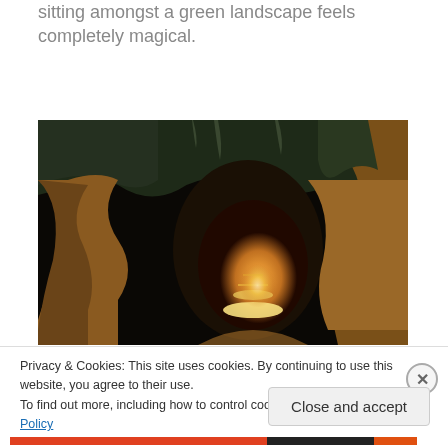sitting amongst a green landscape feels completely magical.
[Figure (photo): Interior of an illuminated cave tunnel with warm orange lighting showing stalactites and rock formations leading into a dark passage]
Privacy & Cookies: This site uses cookies. By continuing to use this website, you agree to their use.
To find out more, including how to control cookies, see here: Cookie Policy